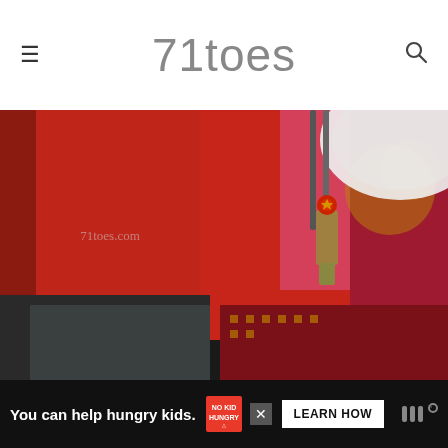71toes
[Figure (photo): Close-up photo of a red Chinese decorative placemat or table runner with gold patterns, chopsticks, and a USB drive with red ornamental charm, on a dark table. A white plate is partially visible at the top right. Watermark text '71toes.com' visible.]
I had our old family movies going when we were walking along The Great Wall of China as we were getting things set up
You can help hungry kids. NO KID HUNGRY LEARN HOW